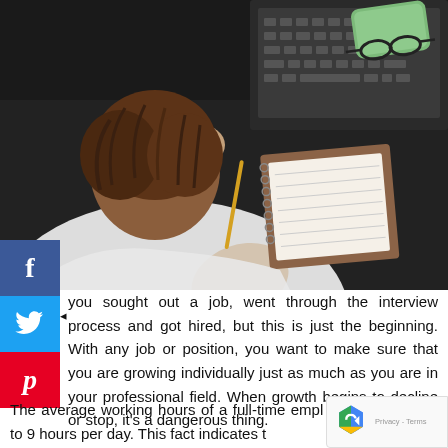[Figure (photo): Overhead view of a stressed person with head in hands at a dark desk, with a laptop keyboard, open notebook, smartphone, green glasses case with black glasses visible.]
[Figure (infographic): Social media share buttons: Facebook (blue with f icon), Twitter (light blue with bird icon), Pinterest (red with P icon)]
you sought out a job, went through the interview process and got hired, but this is just the beginning. With any job or position, you want to make sure that you are growing individually just as much as you are in your professional field. When growth begins to decline or stop, it's a dangerous thing.
The average working hours of a full-time empl[oyee is] around 8 to 9 hours per day. This fact indicates t[hat] [the hours you spend at work and how it affects your life is an important matter to think about.]
[Figure (other): reCAPTCHA badge with Google logo and Privacy - Terms text]